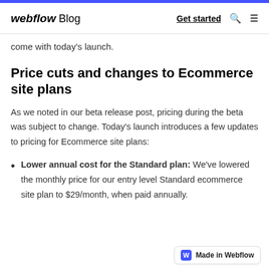webflow Blog | Get started
come with today's launch.
Price cuts and changes to Ecommerce site plans
As we noted in our beta release post, pricing during the beta was subject to change. Today's launch introduces a few updates to pricing for Ecommerce site plans:
Lower annual cost for the Standard plan: We've lowered the monthly price for our entry level Standard ecommerce site plan to $29/month, when paid annually.